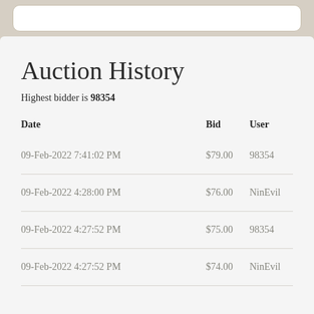Auction History
Highest bidder is 98354
| Date | Bid | User |
| --- | --- | --- |
| 09-Feb-2022 7:41:02 PM | $79.00 | 98354 |
| 09-Feb-2022 4:28:00 PM | $76.00 | NinEvil |
| 09-Feb-2022 4:27:52 PM | $75.00 | 98354 |
| 09-Feb-2022 4:27:52 PM | $74.00 | NinEvil |